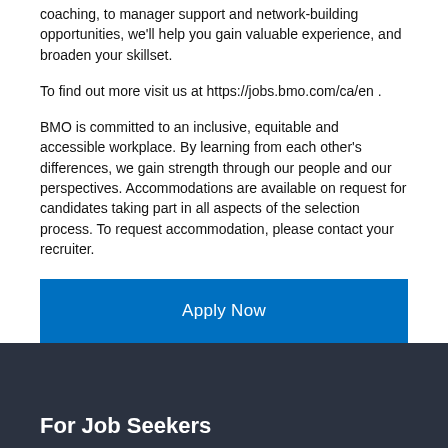coaching, to manager support and network-building opportunities, we'll help you gain valuable experience, and broaden your skillset.
To find out more visit us at https://jobs.bmo.com/ca/en .
BMO is committed to an inclusive, equitable and accessible workplace. By learning from each other's differences, we gain strength through our people and our perspectives. Accommodations are available on request for candidates taking part in all aspects of the selection process. To request accommodation, please contact your recruiter.
Apply Now
For Job Seekers